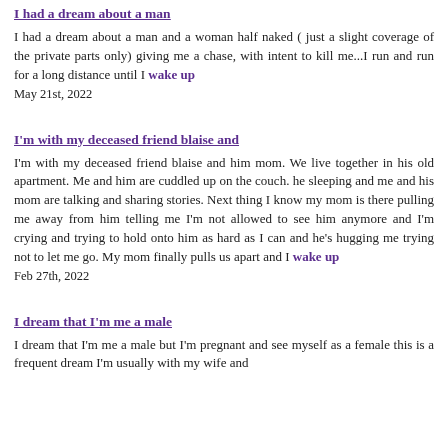I had a dream about a man
I had a dream about a man and a woman half naked ( just a slight coverage of the private parts only) giving me a chase, with intent to kill me...I run and run for a long distance until I wake up
May 21st, 2022
I'm with my deceased friend blaise and
I'm with my deceased friend blaise and him mom. We live together in his old apartment. Me and him are cuddled up on the couch. he sleeping and me and his mom are talking and sharing stories. Next thing I know my mom is there pulling me away from him telling me I'm not allowed to see him anymore and I'm crying and trying to hold onto him as hard as I can and he's hugging me trying not to let me go. My mom finally pulls us apart and I wake up
Feb 27th, 2022
I dream that I'm me a male
I dream that I'm me a male but I'm pregnant and see myself as a female this is a frequent dream I'm usually with my wife and